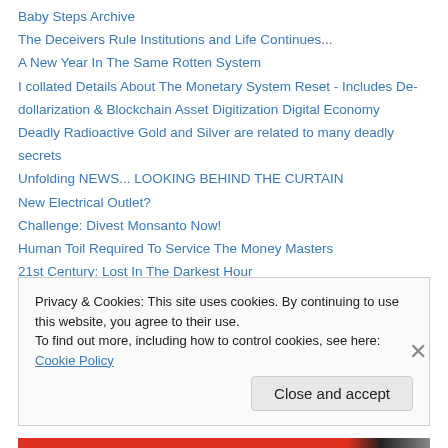Baby Steps Archive
The Deceivers Rule Institutions and Life Continues...
A New Year In The Same Rotten System
I collated Details About The Monetary System Reset - Includes De-dollarization & Blockchain Asset Digitization Digital Economy
Deadly Radioactive Gold and Silver are related to many deadly secrets
Unfolding NEWS... LOOKING BEHIND THE CURTAIN
New Electrical Outlet?
Challenge: Divest Monsanto Now!
Human Toil Required To Service The Money Masters
21st Century: Lost In The Darkest Hour
Privacy & Cookies: This site uses cookies. By continuing to use this website, you agree to their use. To find out more, including how to control cookies, see here: Cookie Policy
Close and accept